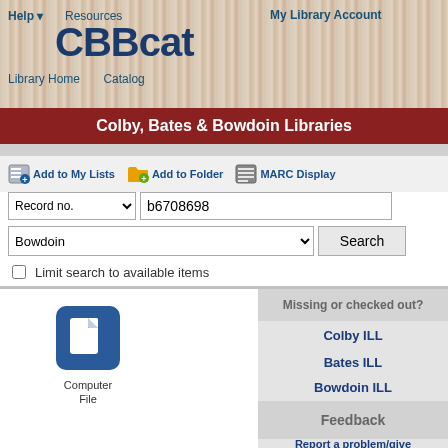Help ▾   Resources   My Library Account   CBBcat   Library Home   Catalog
Colby, Bates & Bowdoin Libraries
Add to My Lists   Add to Folder   MARC Display
Record no. | b6708698
Bowdoin   Search
Limit search to available items
[Figure (illustration): Computer File icon - dark blue square with white document/file symbol, labeled 'Computer File' below]
Missing or checked out?
Colby ILL
Bates ILL
Bowdoin ILL
Feedback
Report a problem/give